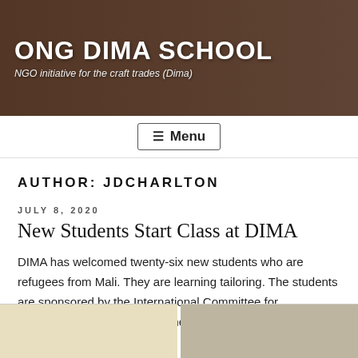ONG DIMA SCHOOL
NGO initiative for the craft trades (Dima)
Menu
AUTHOR: JDCHARLTON
JULY 8, 2020
New Students Start Class at DIMA
DIMA has welcomed twenty-six new students who are refugees from Mali. They are learning tailoring. The students are sponsored by the International Committee for Emergency Aid and Development.
[Figure (photo): Two thumbnail images at the bottom of the page, partially visible, showing classroom or school-related scenes.]